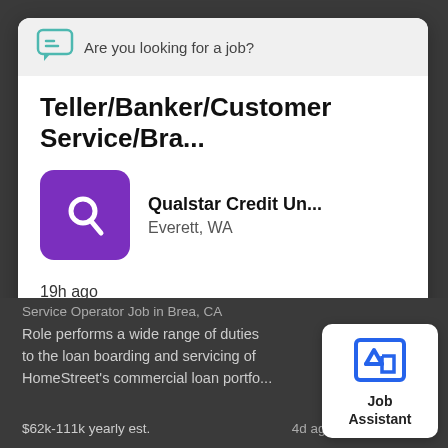Are you looking for a job?
Teller/Banker/Customer Service/Bra...
[Figure (logo): Qualstar Credit Union purple logo with white Q search icon]
Qualstar Credit Un...
Everett, WA
19h ago
$19.5-21.5 hourly
View Or Apply
Service Operator Job in Brea, CA
Role performs a wide range of duties to the loan boarding and servicing of HomeStreet's commercial loan portfo...
$62k-111k yearly est.
[Figure (logo): Job Assistant widget with blue Z logo icon]
Job
Assistant
4d ago